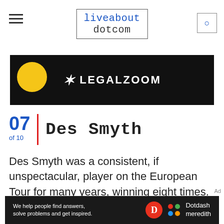liveabout dotcom
[Figure (other): LegalZoom advertisement banner with yellow circle and white text on black background]
07 of 10 | Des Smyth
Des Smyth was a consistent, if unspectacular, player on the European Tour for many years, winning eight times. The first of those wins happened in 1979. In his last European Tour win, at the 2001 Madeira Island Open, Smyth broke the
[Figure (other): Dotdash Meredith footer advertisement: We help people find answers, solve problems and get inspired.]